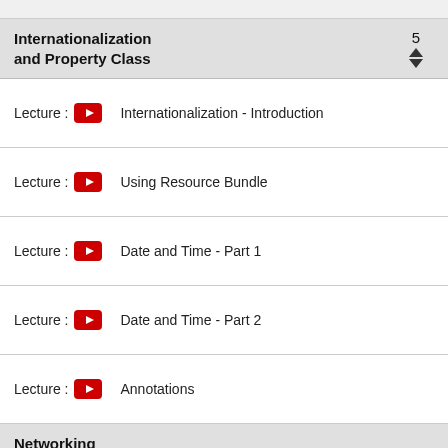Internationalization and Property Class
Lecture : Internationalization - Introduction
Lecture : Using Resource Bundle
Lecture : Date and Time - Part 1
Lecture : Date and Time - Part 2
Lecture : Annotations
Networking Basics and Classes
Lecture : Java Networking Basic Overview - Package and Classes